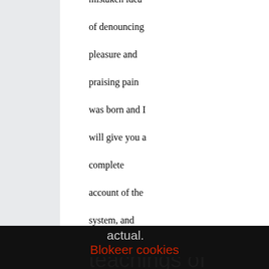mistaken idea of denouncing pleasure and praising pain was born and I will give you a complete account of the system, and expound the actual teachings of
actual.
Blokeer cookies
teachings of